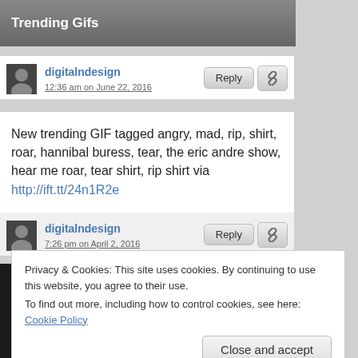Trending Gifs
digitalndesign
12:36 am on June 22, 2016
New trending GIF tagged angry, mad, rip, shirt, roar, hannibal buress, tear, the eric andre show, hear me roar, tear shirt, rip shirt via http://ift.tt/24n1R2e
digitalndesign
7:26 pm on April 2, 2016
[Figure (photo): Close-up photo of a woman's face with wide eyes and surprised expression]
Privacy & Cookies: This site uses cookies. By continuing to use this website, you agree to their use.
To find out more, including how to control cookies, see here: Cookie Policy
Close and accept